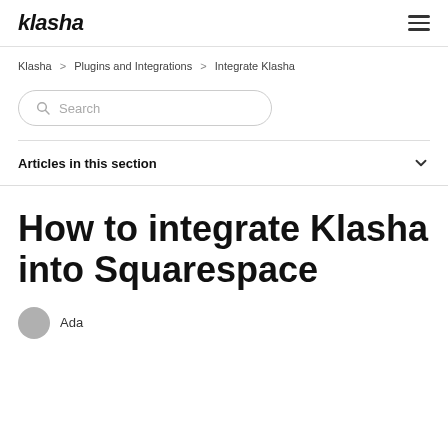klasha
Klasha > Plugins and Integrations > Integrate Klasha
Search
Articles in this section
How to integrate Klasha into Squarespace
Ada